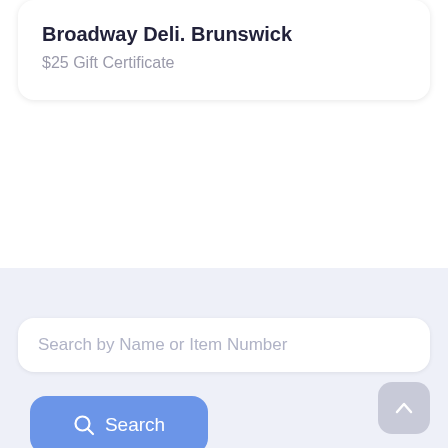Broadway Deli. Brunswick
$25 Gift Certificate
Search by Name or Item Number
Search